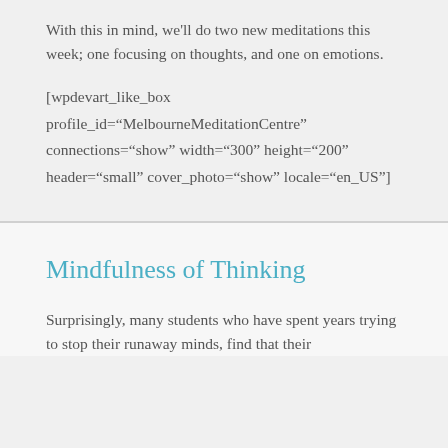With this in mind, we'll do two new meditations this week; one focusing on thoughts, and one on emotions.
[wpdevart_like_box profile_id="MelbourneMeditationCentre" connections="show" width="300" height="200" header="small" cover_photo="show" locale="en_US"]
Mindfulness of Thinking
Surprisingly, many students who have spent years trying to stop their runaway minds, find that their